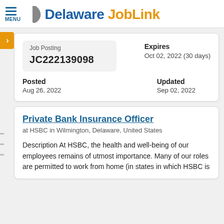Delaware JobLink
| Field | Value |
| --- | --- |
| Job Posting | JC222139098 |
| Expires | Oct 02, 2022 (30 days) |
| Posted | Aug 26, 2022 |
| Updated | Sep 02, 2022 |
Private Bank Insurance Officer
at HSBC in Wilmington, Delaware, United States
Description At HSBC, the health and well-being of our employees remains of utmost importance. Many of our roles are permitted to work from home (in states in which HSBC is